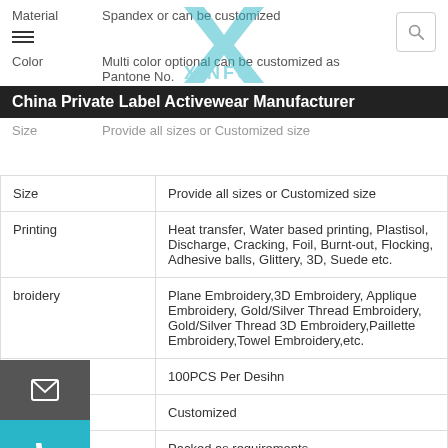Material | Spandex or can be customized
Color | Multi color optional can be customized as Pantone No.
China Private Label Activewear Manufacturer
| Property | Value |
| --- | --- |
| Size | Provide all sizes or Customized size |
| Printing | Heat transfer, Water based printing, Plastisol, Discharge, Cracking, Foil, Burnt-out, Flocking, Adhesive balls, Glittery, 3D, Suede etc. |
| Embroidery | Plane Embroidery,3D Embroidery, Applique Embroidery, Gold/Silver Thread Embroidery, Gold/Silver Thread 3D Embroidery,Paillette Embroidery,Towel Embroidery,etc. |
| MOQ | 100PCS Per Desihn |
| Label&Tag | Customized |
| Packing | Packed as requirements |
| FOB port | Shenzhen or Guangzhou |